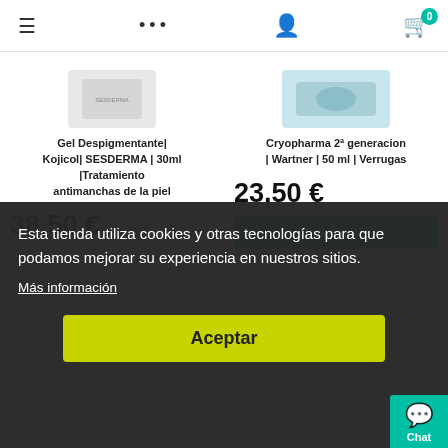Navigation bar with hamburger menu, dots menu, user icon, and cart with badge 0
Gel Despigmentante| Kojicol| SESDERMA | 30ml |Tratamiento antimanchas de la piel
38,50 € 46,95 €
Cryopharma 2ª generacion | Wartner | 50 ml | Verrugas
23,50 €
AÑADIR
Esta tienda utiliza cookies y otras tecnologías para que podamos mejorar su experiencia en nuestros sitios. Más información
Aceptar